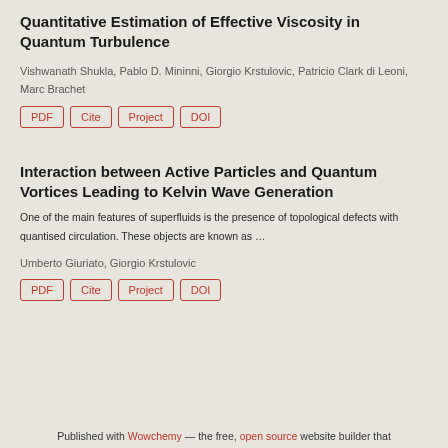Quantitative Estimation of Effective Viscosity in Quantum Turbulence
Vishwanath Shukla, Pablo D. Mininni, Giorgio Krstulovic, Patricio Clark di Leoni, Marc Brachet
PDF | Cite | Project | DOI
Interaction between Active Particles and Quantum Vortices Leading to Kelvin Wave Generation
One of the main features of superfluids is the presence of topological defects with quantised circulation. These objects are known as …
Umberto Giuriato, Giorgio Krstulovic
PDF | Cite | Project | DOI
Published with Wowchemy — the free, open source website builder that